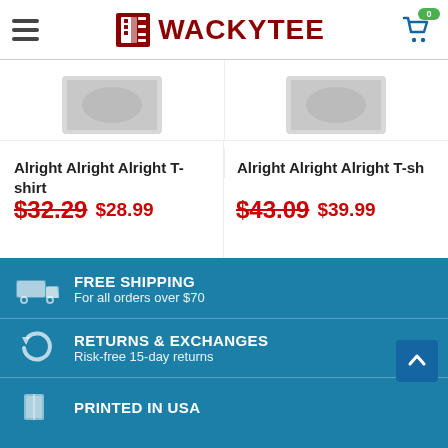WACKYTEE – navigation header with hamburger menu and cart (0 items)
Alright Alright Alright T-shirt
$32.29  $28.99
ADD TO CART
Alright Alright Alright T-sh
$43.09  $39.99
ADD TO CART
FREE SHIPPING
For all orders over $70
RETURNS & EXCHANGES
Risk-free 15-day returns
PRINTED IN USA